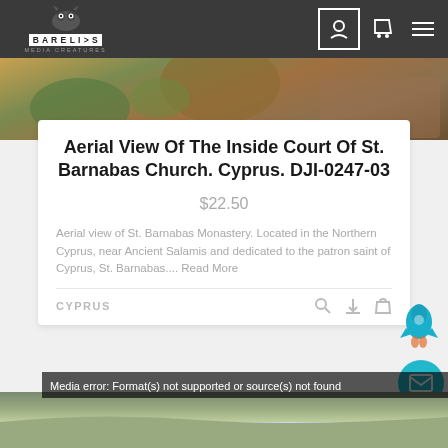[Figure (screenshot): Website navigation bar for Barelis Media Creatures with logo on the left and icons on the right]
[Figure (photo): Aerial view hero image of St. Barnabas Church courtyard in Cyprus showing palm trees and stone buildings]
Aerial View Of The Inside Court Of St. Barnabas Church. Cyprus. DJI-0247-03
$22.50
Aerial view of St. Barnabas Monastery. Located in the Northern Cyprus, near Ancient Salamis and dedicated to the patron saint of Cyprus, St. Barnabas.... Read More
CYPRUS
[Figure (photo): Bottom partial image showing coastal landscape in Cyprus, with error message: Media error: Format(s) not supported or source(s) not found]